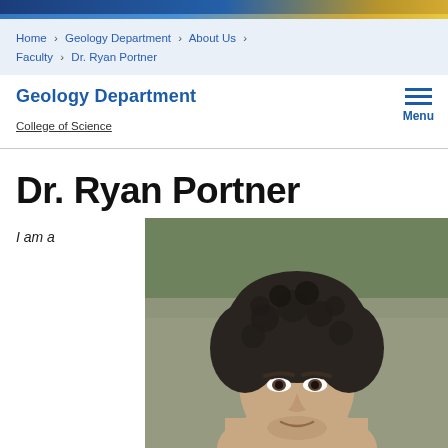Home > Geology Department > About Us > Faculty > Dr. Ryan Portner
Geology Department
College of Science
Dr. Ryan Portner
I am a
[Figure (photo): Portrait photo of Dr. Ryan Portner, a man with curly dark hair, shown from the shoulders up against a blurred outdoor background.]